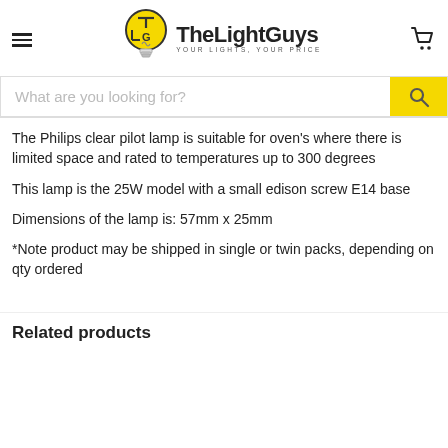TheLightGuys - YOUR LIGHTS, YOUR PRICE
The Philips clear pilot lamp is suitable for oven's where there is limited space and rated to temperatures up to 300 degrees
This lamp is the 25W model with a small edison screw E14 base
Dimensions of the lamp is: 57mm x 25mm
*Note product may be shipped in single or twin packs, depending on qty ordered
Related products